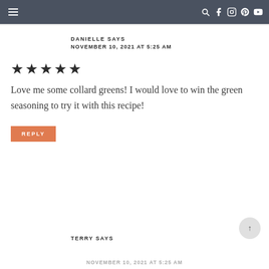Navigation bar with hamburger menu and social icons
DANIELLE SAYS
NOVEMBER 10, 2021 AT 5:25 AM
★★★★★
Love me some collard greens! I would love to win the green seasoning to try it with this recipe!
REPLY
TERRY SAYS
NOVEMBER 10, 2021 AT 5:25 AM